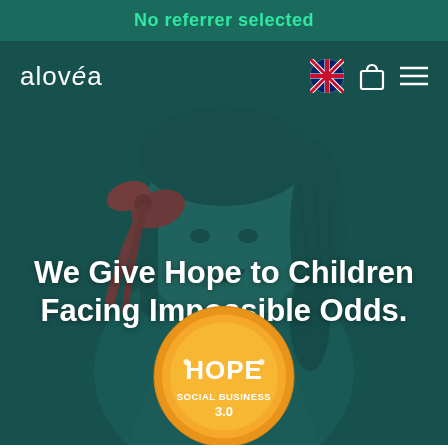No referrer selected
[Figure (screenshot): Alovéa website screenshot showing a navbar with logo 'alovéa', UK flag icon, bag icon, and hamburger menu. Background shows a child with a red bow in hair, overlaid with dark teal color. Large white bold text reads 'We Give Hope to Children Facing Impossible Odds.' At the bottom center is a circular badge reading 'HOPE SOCIAL BUSINESS 3.0'.]